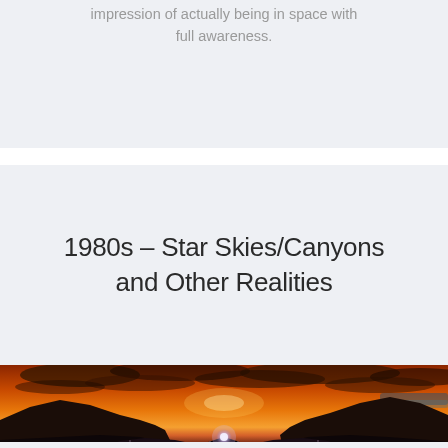impression of actually being in space with full awareness.
1980s – Star Skies/Canyons and Other Realities
[Figure (photo): A dramatic landscape painting showing a canyon or desert scene at sunset/dusk with fiery orange and red clouds overhead, dark mountain silhouettes on the sides, and a glowing orb of light reflected in water or a portal in the foreground surrounded by sparkled ground.]